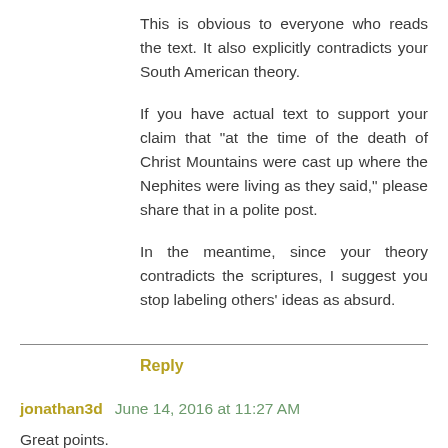This is obvious to everyone who reads the text. It also explicitly contradicts your South American theory.
If you have actual text to support your claim that "at the time of the death of Christ Mountains were cast up where the Nephites were living as they said," please share that in a polite post.
In the meantime, since your theory contradicts the scriptures, I suggest you stop labeling others' ideas as absurd.
Reply
jonathan3d June 14, 2016 at 11:27 AM
Great points.
Nephi had his experience in the Old World, presumably along the coast of Oman, where there are high mountains.